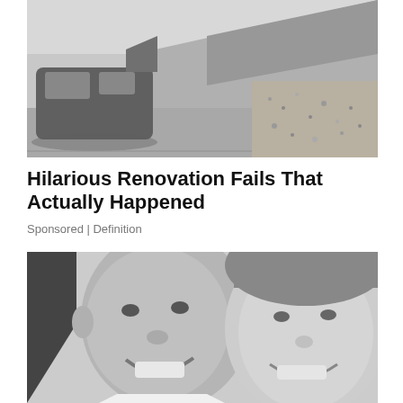[Figure (photo): Black and white photo of a driveway construction fail — a steep concrete ramp next to a parked SUV with open rear hatch, and gravel landscaping]
Hilarious Renovation Fails That Actually Happened
Sponsored | Definition
[Figure (photo): Black and white close-up photo of two men smiling together — one bald man on the left and one with short hair on the right]